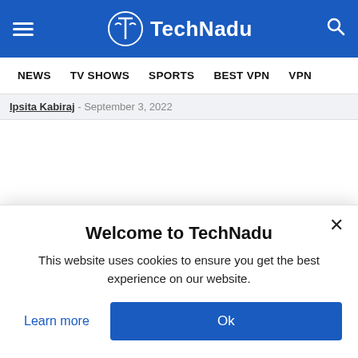TechNadu - Navigation header with hamburger menu, logo, and search icon
NEWS   TV SHOWS   SPORTS   BEST VPN   VPN
Ipsita Kabiraj - September 3, 2022
Welcome to TechNadu
This website uses cookies to ensure you get the best experience on our website.
Learn more   Ok